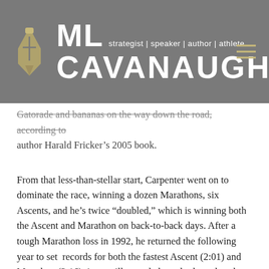[Figure (logo): ML Cavanaugh logo with fountain pen icon and tagline: strategist | speaker | author | athlete]
Gatorade and bananas on the way down the road, according to author Harald Fricker's 2005 book.
From that less-than-stellar start, Carpenter went on to dominate the race, winning a dozen Marathons, six Ascents, and he's twice "doubled," which is winning both the Ascent and Marathon on back-to-back days. After a tough Marathon loss in 1992, he returned the following year to set records for both the fastest Ascent (2:01) and Marathon (3:16) times still regarded nearly three decades later as one of the greatest performances in trail running history.
In 2004, Carpenter went looking for another challenge in the Leadville Trail 100 Mile Run. He started strong but then had to